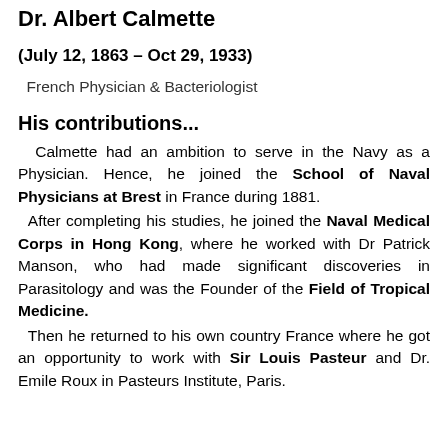Dr. Albert Calmette
(July 12, 1863 – Oct 29, 1933)
French Physician & Bacteriologist
His contributions...
Calmette had an ambition to serve in the Navy as a Physician. Hence, he joined the School of Naval Physicians at Brest in France during 1881.
After completing his studies, he joined the Naval Medical Corps in Hong Kong, where he worked with Dr Patrick Manson, who had made significant discoveries in Parasitology and was the Founder of the Field of Tropical Medicine.
Then he returned to his own country France where he got an opportunity to work with Sir Louis Pasteur and Dr. Emile Roux in Pasteurs Institute, Paris.